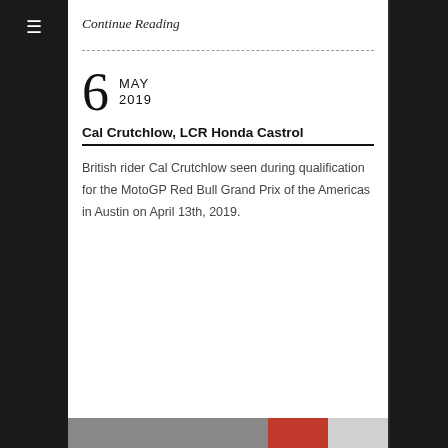Continue Reading
6 MAY 2019
Cal Crutchlow, LCR Honda Castrol
British rider Cal Crutchlow seen during qualification for the MotoGP Red Bull Grand Prix of the Americas in Austin on April 13th, 2019.
[Figure (photo): Partial photo strip at bottom showing red and grey racing imagery]